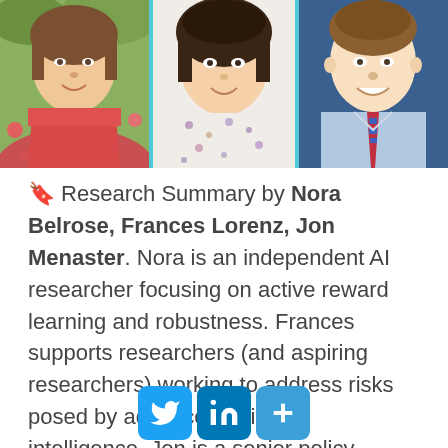[Figure (photo): Three author headshots side by side: woman in pink top (Nora Belrose), woman in floral top (Frances Lorenz), man in blue shirt with tie (Jon Menaster)]
🔖 Research Summary by Nora Belrose, Frances Lorenz, Jon Menaster. Nora is an independent AI researcher focusing on active reward learning and robustness. Frances supports researchers (and aspiring researchers) working to address risks posed by advanced artificial intelligence. Jon is a senior policy analyst and project manager with the U.S. Government Accountability Office focusing on AI